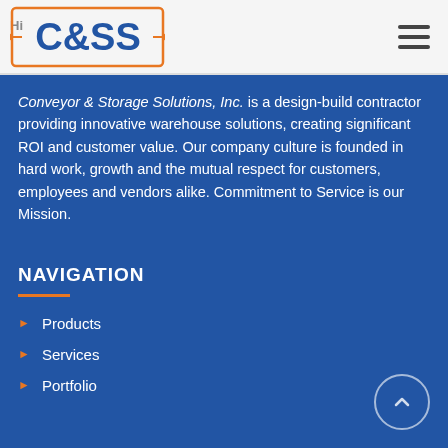[Figure (logo): C&SS Conveyor & Storage Solutions logo with orange border rectangle and blue text]
Conveyor & Storage Solutions, Inc. is a design-build contractor providing innovative warehouse solutions, creating significant ROI and customer value. Our company culture is founded in hard work, growth and the mutual respect for customers, employees and vendors alike. Commitment to Service is our Mission.
NAVIGATION
Products
Services
Portfolio